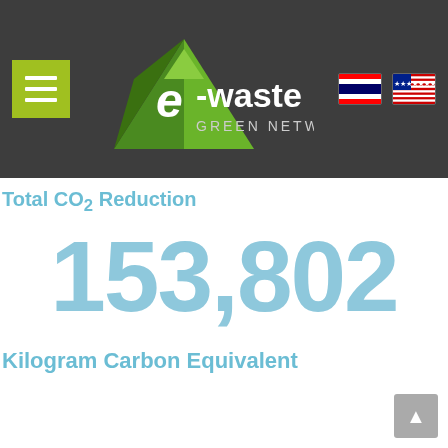[Figure (logo): e-waste Green Network logo with green arrow/triangle shape and text, on dark grey navigation bar with hamburger menu and flag icons]
Total CO₂ Reduction
153,802
Kilogram Carbon Equivalent